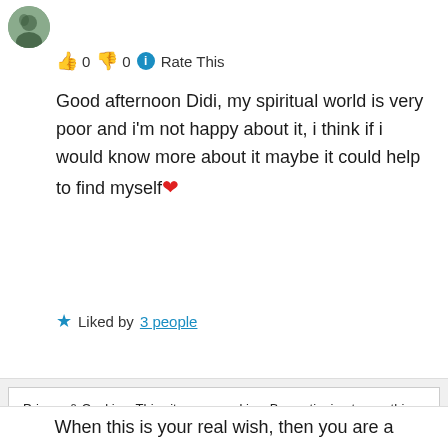[Figure (photo): Circular avatar photo of a person outdoors]
0  0  Rate This
Good afternoon Didi, my spiritual world is very poor and i'm not happy about it, i think if i would know more about it maybe it could help to find myself❤
★ Liked by 3 people
Log in to Reply
Privacy & Cookies: This site uses cookies. By continuing to use this website, you agree to their use.
To find out more, including how to control cookies, see here: Cookie Policy
Close and accept
When this is your real wish, then you are a